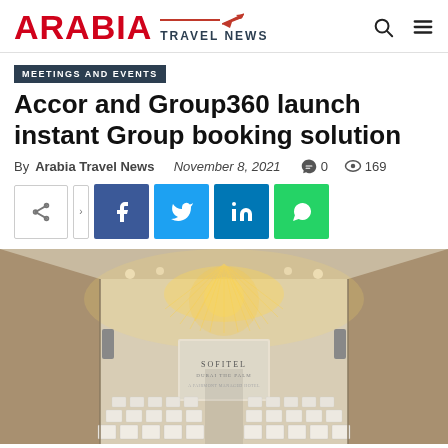ARABIA TRAVEL NEWS
MEETINGS AND EVENTS
Accor and Group360 launch instant Group booking solution
By Arabia Travel News   November 8, 2021   0   169
[Figure (photo): Interior of a Sofitel hotel ballroom conference hall with ornate ceiling chandelier, rows of white chairs set up theater-style, and a presentation screen at the front with SOFITEL branding.]